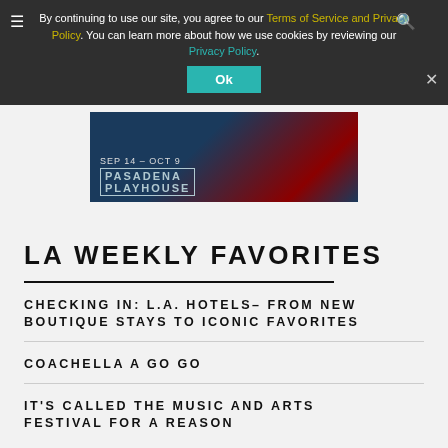By continuing to use our site, you agree to our Terms of Service and Privacy Policy. You can learn more about how we use cookies by reviewing our Privacy Policy.
[Figure (screenshot): Cookie consent banner with Ok button over a Pasadena Playhouse advertisement (SEP 14 - OCT 9)]
LA WEEKLY FAVORITES
CHECKING IN: L.A. HOTELS– FROM NEW BOUTIQUE STAYS TO ICONIC FAVORITES
COACHELLA A GO GO
IT'S CALLED THE MUSIC AND ARTS FESTIVAL FOR A REASON